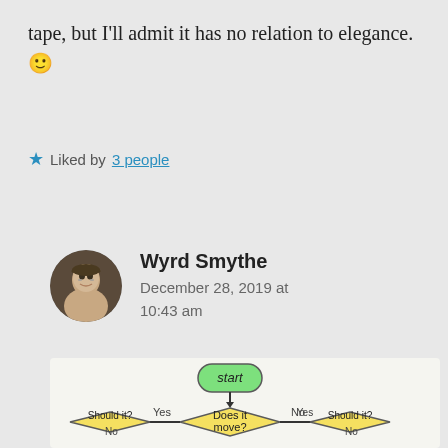tape, but I'll admit it has no relation to elegance. 🙂
★ Liked by 3 people
Wyrd Smythe
December 28, 2019 at 10:43 am
[Figure (flowchart): Flowchart showing: start (green oval) → Does it move? (yellow diamond) with Yes/No branches → Should it? diamonds → No Problem (pink oval) and other outcomes]